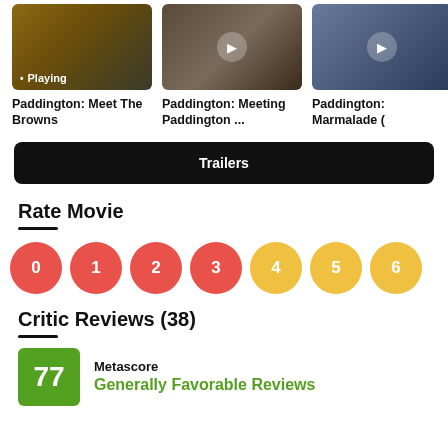[Figure (screenshot): Video thumbnail for Paddington: Meet The Browns, showing a bear, currently playing]
[Figure (screenshot): Video thumbnail for Paddington: Meeting Paddington, with play button]
[Figure (screenshot): Video thumbnail for Paddington: Marmalade, with play button, partially cropped]
Paddington: Meet The Browns
Paddington: Meeting Paddington ...
Paddington: Marmalade (
Trailers
Rate Movie
[Figure (infographic): Rating circles numbered 0 through 6, colors red (0-3) and yellow (4-6)]
Critic Reviews (38)
Metascore
Generally Favorable Reviews